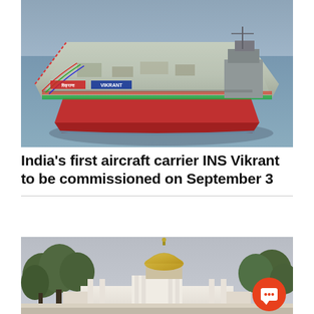[Figure (photo): Aerial view of INS Vikrant aircraft carrier decorated with flags and banners, floating in water, viewed from above and front, with 'VIKRANT' marking visible on the hull]
India's first aircraft carrier INS Vikrant to be commissioned on September 3
[Figure (photo): Photograph of the Supreme Court of India building with its iconic dome, surrounded by trees, with a red circular chat/notification button overlay in the bottom right corner]